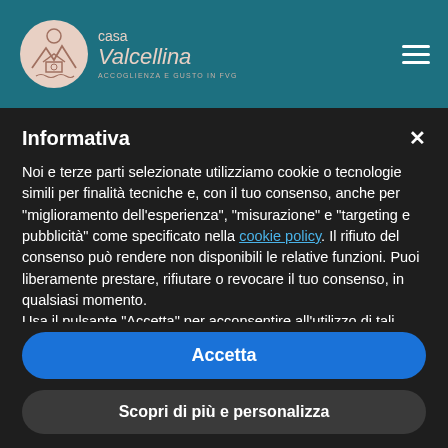[Figure (logo): Casa Valcellina logo with circular emblem showing a house and mountains, text reads 'casa Valcellina ACCOGLIENZA E GUSTO IN FVG']
Informativa
Noi e terze parti selezionate utilizziamo cookie o tecnologie simili per finalità tecniche e, con il tuo consenso, anche per "miglioramento dell'esperienza", "misurazione" e "targeting e pubblicità" come specificato nella cookie policy. Il rifiuto del consenso può rendere non disponibili le relative funzioni. Puoi liberamente prestare, rifiutare o revocare il tuo consenso, in qualsiasi momento.
Usa il pulsante "Accetta" per acconsentire all'utilizzo di tali tecnologie. Chiudi questa informativa per continuare senza accettare.
Accetta
Scopri di più e personalizza